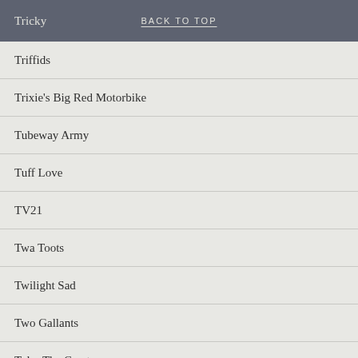Tricky   BACK TO TOP
Triffids
Trixie's Big Red Motorbike
Tubeway Army
Tuff Love
TV21
Twa Toots
Twilight Sad
Two Gallants
Tyler The Creator
U.N.K.L.E.
U.N.P.O.C.
U2